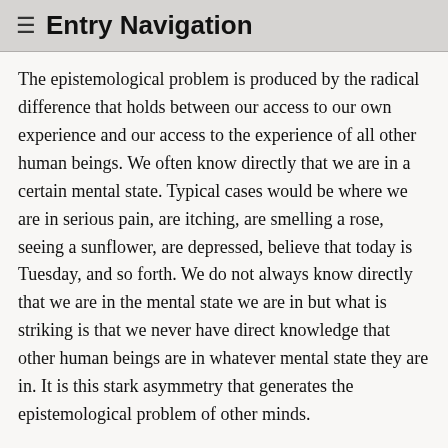≡ Entry Navigation
The epistemological problem is produced by the radical difference that holds between our access to our own experience and our access to the experience of all other human beings. We often know directly that we are in a certain mental state. Typical cases would be where we are in serious pain, are itching, are smelling a rose, seeing a sunflower, are depressed, believe that today is Tuesday, and so forth. We do not always know directly that we are in the mental state we are in but what is striking is that we never have direct knowledge that other human beings are in whatever mental state they are in. It is this stark asymmetry that generates the epistemological problem of other minds.
The asymmetry is a matter of what is known directly and not known directly, and the specific kind of knowledge. It is not a matter of what can be observed, perceived, felt, as opposed to what cannot be observed, perceived, felt. Were I able to observe the mental states of another human being that would not mean that I did not have a problem of other